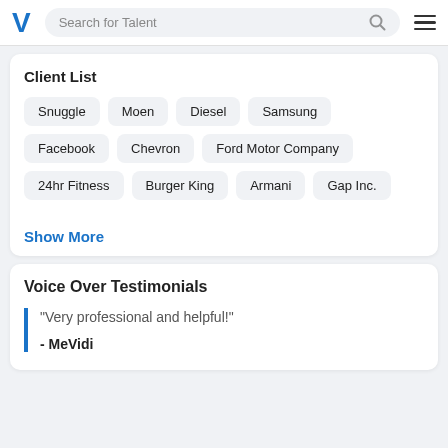Search for Talent
Client List
Snuggle
Moen
Diesel
Samsung
Facebook
Chevron
Ford Motor Company
24hr Fitness
Burger King
Armani
Gap Inc.
Show More
Voice Over Testimonials
“Very professional and helpful!”
- MeVidi